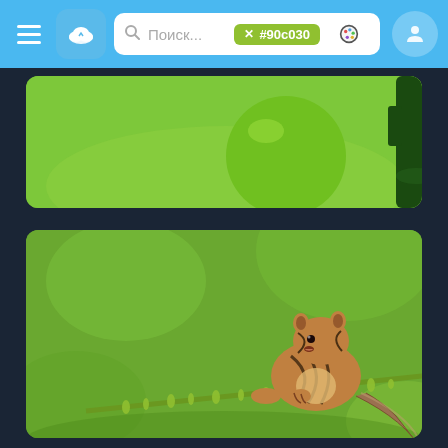[Figure (screenshot): Mobile app navigation bar with hamburger menu, cloud icon button, search bar with Russian text 'Поиск...' and green tag '#90с030', palette icon, and user profile icon on a blue background]
[Figure (photo): Partially visible photo of green apples or balls on a green background]
[Figure (photo): Photo of a chipmunk perched on a green plant stem against a blurred green background]